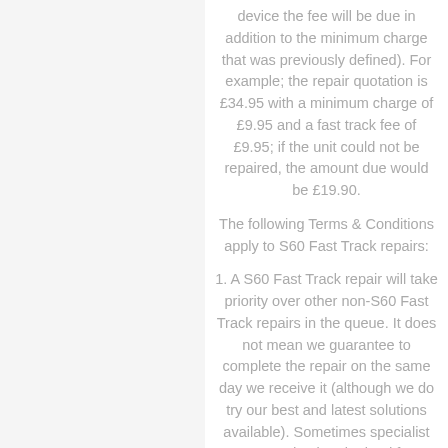device the fee will be due in addition to the minimum charge that was previously defined). For example; the repair quotation is £34.95 with a minimum charge of £9.95 and a fast track fee of £9.95; if the unit could not be repaired, the amount due would be £19.90.
The following Terms & Conditions apply to S60 Fast Track repairs:
1. A S60 Fast Track repair will take priority over other non-S60 Fast Track repairs in the queue. It does not mean we guarantee to complete the repair on the same day we receive it (although we do try our best and latest solutions available). Sometimes specialist parts need to be obtained from manufacturer and this can delay the turnaround time. We will keep you advised of the situation via the online tracking system by using your login that you have specified on registration if any delays are expected
2. S60 Fast Track repairs will be dispatched